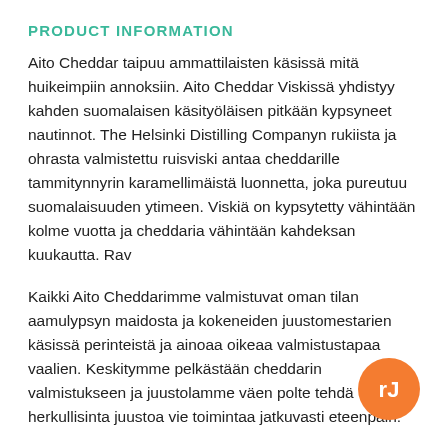PRODUCT INFORMATION
Aito Cheddar taipuu ammattilaisten käsissä mitä huikeimpiin annoksiin. Aito Cheddar Viskissä yhdistyy kahden suomalaisen käsityöläisen pitkään kypsyneet nautinnot. The Helsinki Distilling Companyn rukiista ja ohrasta valmistettu ruisviski antaa cheddarille tammitynnyrin karamellimäistä luonnetta, joka pureutuu suomalaisuuden ytimeen. Viskiä on kypsytetty vähintään kolme vuotta ja cheddaria vähintään kahdeksan kuukautta. Rav
Kaikki Aito Cheddarimme valmistuvat oman tilan aamulypsyn maidosta ja kokeneiden juustomestarien käsissä perinteistä ja ainoaa oikeaa valmistustapaa vaalien. Keskitymme pelkästään cheddarin valmistukseen ja juustolamme väen polte tehdä herkullisinta juustoa vie toimintaa jatkuvasti eteenpäin.
[Figure (logo): Orange circle logo with stylized 'rj' letters in white]